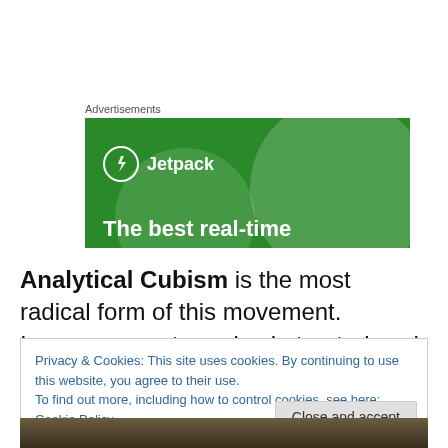Advertisements
[Figure (illustration): Jetpack advertisement banner with green background, large semi-transparent circle, Jetpack logo (lightning bolt in circle) and text 'The best real-time']
Analytical Cubism is the most radical form of this movement.  Images are extremely abstracted such that
Privacy & Cookies: This site uses cookies. By continuing to use this website, you agree to their use.
To find out more, including how to control cookies, see here: Cookie Policy
[Figure (photo): Bottom partial photo showing a textured brown/earth-toned surface]